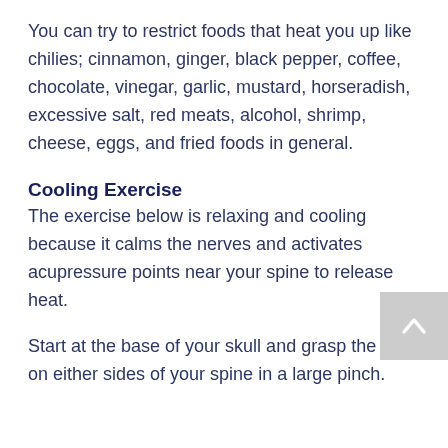You can try to restrict foods that heat you up like chilies; cinnamon, ginger, black pepper, coffee, chocolate, vinegar, garlic, mustard, horseradish, excessive salt, red meats, alcohol, shrimp, cheese, eggs, and fried foods in general.
Cooling Exercise
The exercise below is relaxing and cooling because it calms the nerves and activates acupressure points near your spine to release heat.
Start at the base of your skull and grasp the skin on either sides of your spine in a large pinch.